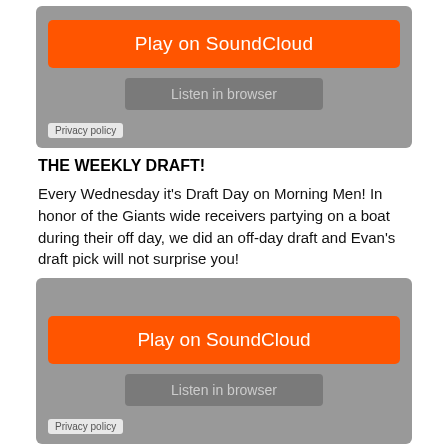[Figure (screenshot): SoundCloud embedded player widget with gray background, orange 'Play on SoundCloud' button, gray 'Listen in browser' button, and 'Privacy policy' tag in bottom-left corner.]
THE WEEKLY DRAFT!
Every Wednesday it's Draft Day on Morning Men! In honor of the Giants wide receivers partying on a boat during their off day, we did an off-day draft and Evan's draft pick will not surprise you!
[Figure (screenshot): Second SoundCloud embedded player widget with gray background, orange 'Play on SoundCloud' button, gray 'Listen in browser' button, and 'Privacy policy' tag in bottom-left corner.]
Evan's Mom, Mike Babchik and the police!